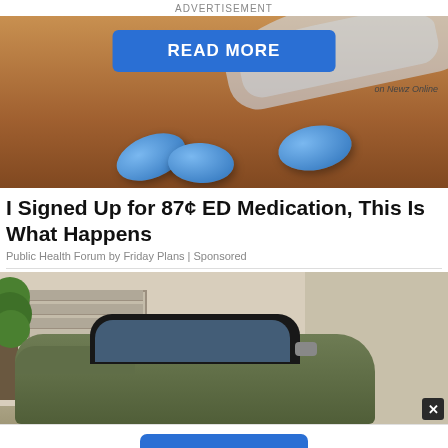ADVERTISEMENT
[Figure (photo): Blue ED medication pills on a wooden surface with a blister pack background. A blue 'READ MORE' button overlay and 'on Newz Online' attribution.]
I Signed Up for 87¢ ED Medication, This Is What Happens
Public Health Forum by Friday Plans | Sponsored
[Figure (photo): A green pickup truck parked in front of a house with garage doors and a topiary tree. Close (X) button in bottom right corner.]
[Figure (screenshot): Bottom navigation bar with a blue NEXT button with chevron arrows and 'on Newz Online' text, plus a red X close button on the left.]